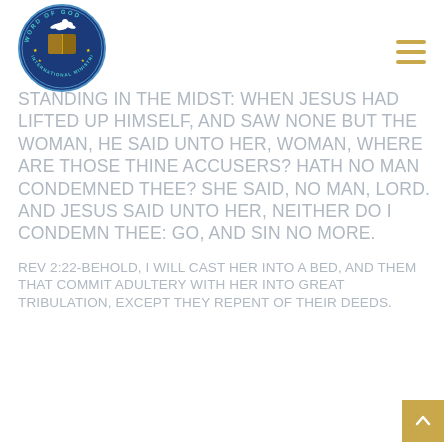[Figure (logo): Word of God International Ministries circular logo with dove and open bible, dark blue background with gold text]
STANDING IN THE MIDST: WHEN JESUS HAD LIFTED UP HIMSELF, AND SAW NONE BUT THE WOMAN, HE SAID UNTO HER, WOMAN, WHERE ARE THOSE THINE ACCUSERS? HATH NO MAN CONDEMNED THEE? SHE SAID, NO MAN, LORD. AND JESUS SAID UNTO HER, NEITHER DO I CONDEMN THEE: GO, AND SIN NO MORE.
Rev 2:22-BEHOLD, I WILL CAST HER INTO A BED, AND THEM THAT COMMIT ADULTERY WITH HER INTO GREAT TRIBULATION, EXCEPT THEY REPENT OF THEIR DEEDS.